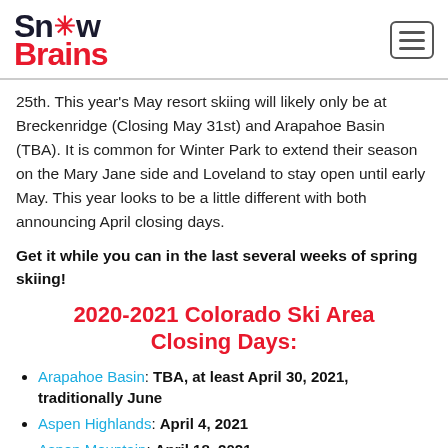Snow Brains
25th. This year's May resort skiing will likely only be at Breckenridge (Closing May 31st) and Arapahoe Basin (TBA). It is common for Winter Park to extend their season on the Mary Jane side and Loveland to stay open until early May. This year looks to be a little different with both announcing April closing days.
Get it while you can in the last several weeks of spring skiing!
2020-2021 Colorado Ski Area Closing Days:
Arapahoe Basin: TBA, at least April 30, 2021, traditionally June
Aspen Highlands: April 4, 2021
Aspen Mountain: April 18, 2021
Aspen Buttermilk: April 4, 2021